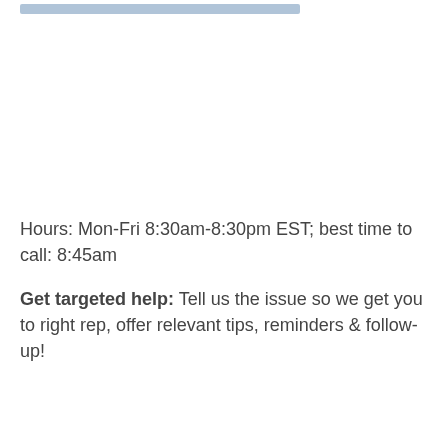Hours: Mon-Fri 8:30am-8:30pm EST; best time to call: 8:45am
Get targeted help: Tell us the issue so we get you to right rep, offer relevant tips, reminders & follow-up!